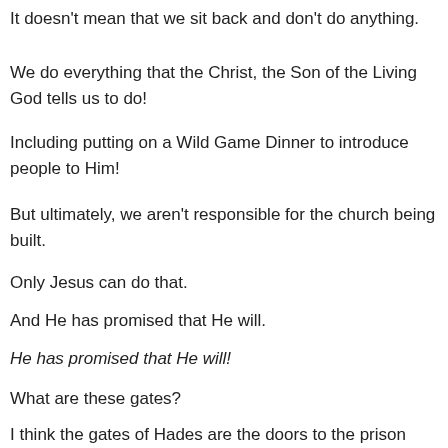It doesn't mean that we sit back and don't do anything.
We do everything that the Christ, the Son of the Living God tells us to do!
Including putting on a Wild Game Dinner to introduce people to Him!
But ultimately, we aren't responsible for the church being built.
Only Jesus can do that.
And He has promised that He will.
He has promised that He will!
What are these gates?
I think the gates of Hades are the doors to the prison house of death.